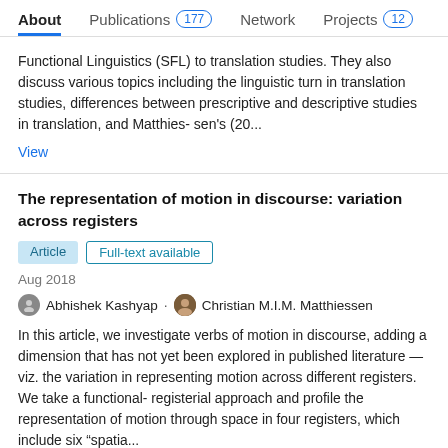About  Publications 177  Network  Projects 12
Functional Linguistics (SFL) to translation studies. They also discuss various topics including the linguistic turn in translation studies, differences between prescriptive and descriptive studies in translation, and Matthies- sen's (20...
View
The representation of motion in discourse: variation across registers
Article  Full-text available
Aug 2018
Abhishek Kashyap . Christian M.I.M. Matthiessen
In this article, we investigate verbs of motion in discourse, adding a dimension that has not yet been explored in published literature — viz. the variation in representing motion across different registers. We take a functional- registerial approach and profile the representation of motion through space in four registers, which include six “spatia...